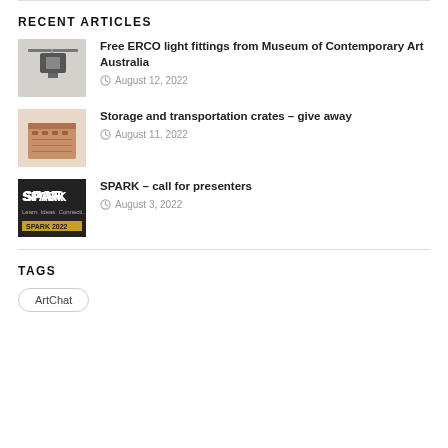RECENT ARTICLES
Free ERCO light fittings from Museum of Contemporary Art Australia — August 12, 2022
Storage and transportation crates – give away — August 11, 2022
SPARK – call for presenters — August 3, 2022
TAGS
ArtChat